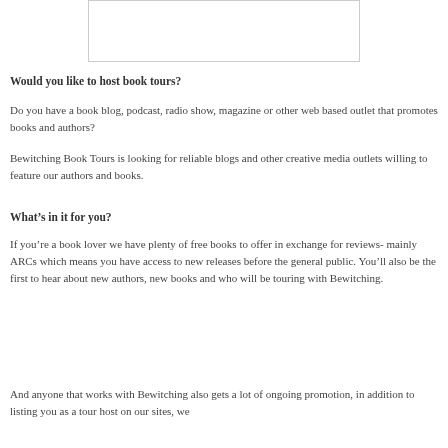[Figure (other): White rectangular image placeholder box]
Would you like to host book tours?
Do you have a book blog, podcast, radio show, magazine or other web based outlet that promotes books and authors?
Bewitching Book Tours is looking for reliable blogs and other creative media outlets willing to feature our authors and books.
What’s in it for you?
If you’re a book lover we have plenty of free books to offer in exchange for reviews- mainly ARCs which means you have access to new releases before the general public. You’ll also be the first to hear about new authors, new books and who will be touring with Bewitching.
And anyone that works with Bewitching also gets a lot of ongoing promotion, in addition to listing you as a tour host on our sites, we